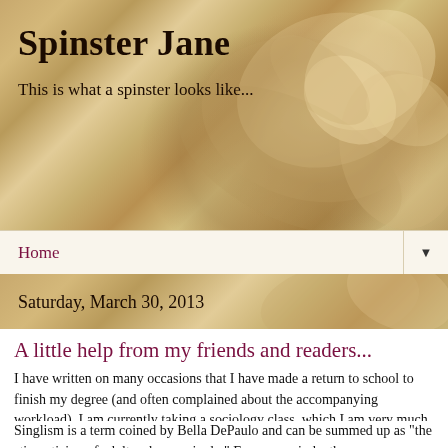[Figure (photo): Close-up photo of a cream/beige rose with swirling petals, used as blog header background]
Spinster Jane
This is what a spinster looks like...
Home ▼
Saturday, March 30, 2013
A little help from my friends and readers...
I have written on many occasions that I have made a return to school to finish my degree (and often complained about the accompanying workload).  I am currently taking a sociology class, which I am very much enjoying.  The class includes a final paper and presentation on a topic of our choice.  It may come as no surprise that I have chosen singlism as my topic.
Singlism is a term coined by Bella DePaulo and can be summed up as "the stigmatizing of adults who are single."  For a more indepth